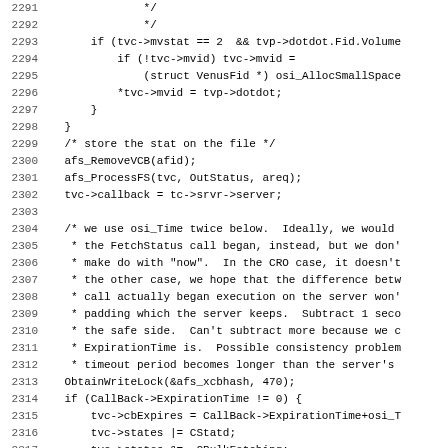[Figure (screenshot): Source code listing in monospace font showing C code lines 2291-2323, with line numbers on the left and code on the right. The code includes conditionals, struct assignments, comments, and function calls related to AFS (Andrew File System) callback handling.]